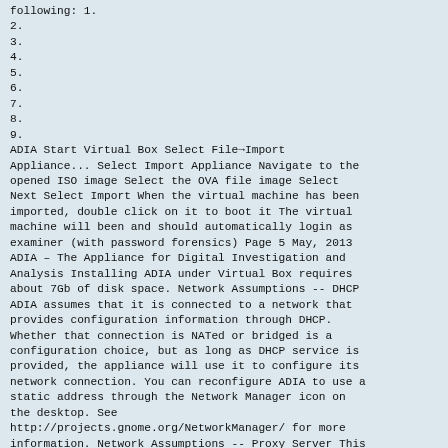following: 1.
2.
3.
4.
5.
6.
7.
8.
9.
ADIA Start Virtual Box Select File→Import Appliance... Select Import Appliance Navigate to the opened ISO image Select the OVA file image Select Next Select Import When the virtual machine has been imported, double click on it to boot it The virtual machine will been and should automatically login as examiner (with password forensics) Page 5 May, 2013 ADIA – The Appliance for Digital Investigation and Analysis Installing ADIA under Virtual Box requires about 7Gb of disk space. Network Assumptions -- DHCP ADIA assumes that it is connected to a network that provides configuration information through DHCP. Whether that connection is NATed or bridged is a configuration choice, but as long as DHCP service is provided, the appliance will use it to configure its network connection. You can reconfigure ADIA to use a static address through the Network Manager icon on the desktop. See http://projects.gnome.org/NetworkManager/ for more information. Network Assumptions -- Proxy Server This appliance also assumes that it is directly connected to the Internet without a proxy server. If that does not match the configuration of your network, then you must configure a proxy server as needed. For example